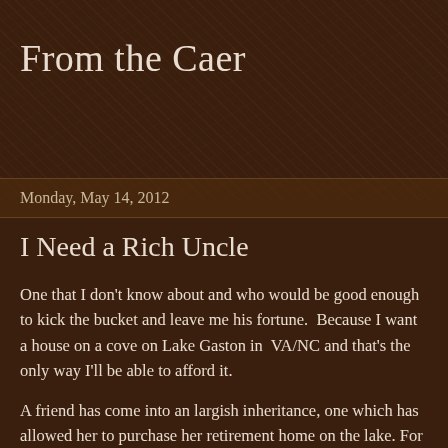From the Caer
Monday, May 14, 2012
I Need a Rich Uncle
One that I don't know about and who would be good enough to kick the bucket and leave me his fortune.  Because I want a house on a cove on Lake Gaston in  VA/NC and that's the only way I'll be able to afford it.
A friend has come into an largish inheritance, one which has allowed her to purchase her retirement home on the lake. For cash.  +4000 sq ft of beautiful house on a quiet cove, with dock and boat house.  And whippoorwills at night.  I love whippoorwills.  And I got to go down with her for a long weekend just past to alternate between sitting on the porch and dock and poke around antique stores for furnishings. Which was fun because we have a lot of the same tastes so...